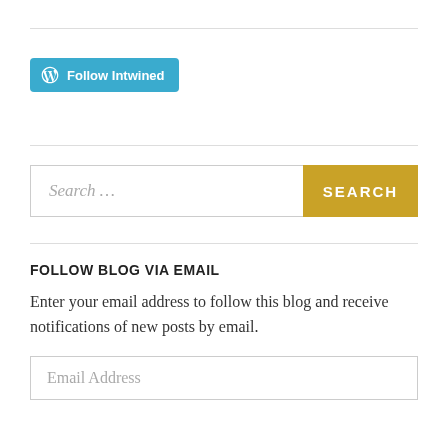[Figure (other): WordPress Follow Intwined button with WordPress logo, teal/blue background and white text]
Search …
FOLLOW BLOG VIA EMAIL
Enter your email address to follow this blog and receive notifications of new posts by email.
Email Address